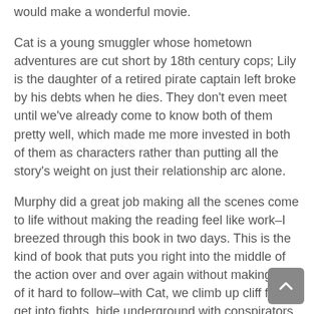would make a wonderful movie.
Cat is a young smuggler whose hometown adventures are cut short by 18th century cops; Lily is the daughter of a retired pirate captain left broke by his debts when he dies. They don't even meet until we've already come to know both of them pretty well, which made me more invested in both of them as characters rather than putting all the story's weight on just their relationship arc alone.
Murphy did a great job making all the scenes come to life without making the reading feel like work–I breezed through this book in two days. This is the kind of book that puts you right into the middle of the action over and over again without making any of it hard to follow–with Cat, we climb up cliff faces, get into fights, hide underground with conspirators, and even have a job interview! (Yes, a pirate job interview is just as intimidating as it sounds.) Lily's